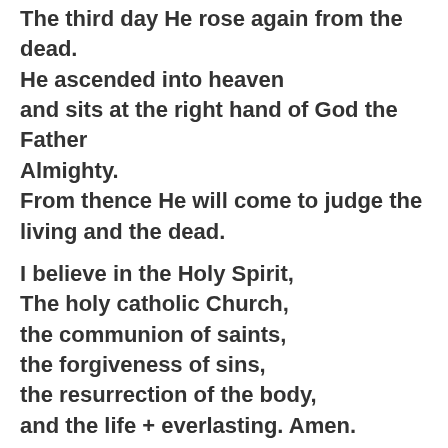The third day He rose again from the dead. He ascended into heaven and sits at the right hand of God the Father Almighty. From thence He will come to judge the living and the dead.
I believe in the Holy Spirit, The holy catholic Church, the communion of saints, the forgiveness of sins, the resurrection of the body, and the life + everlasting. Amen.
PRAYERS of THE CHURCH